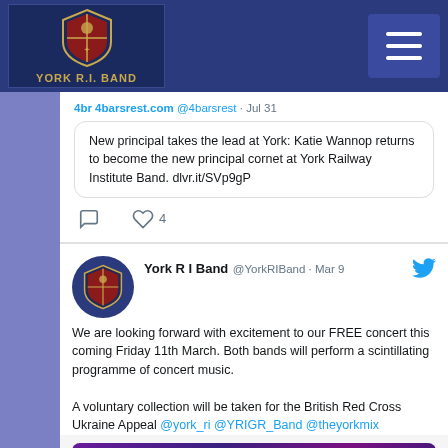York R.I. Band
4barsrest.com @4barsrest · Jul 31
New principal takes the lead at York: Katie Wannop returns to become the new principal cornet at York Railway Institute Band. dlvr.it/SVp9gP
York R I Band @YorkRIBand · Mar 9
We are looking forward with excitement to our FREE concert this coming Friday 11th March. Both bands will perform a scintillating programme of concert music.

A voluntary collection will be taken for the British Red Cross Ukraine Appeal @york_ri @YRIGR_Band @theyorkmix
[Figure (screenshot): Bottom of a tweet image card with colorful purple/orange text 'SPECTRUM' and 'AND SPECIAL GUESTS' below]